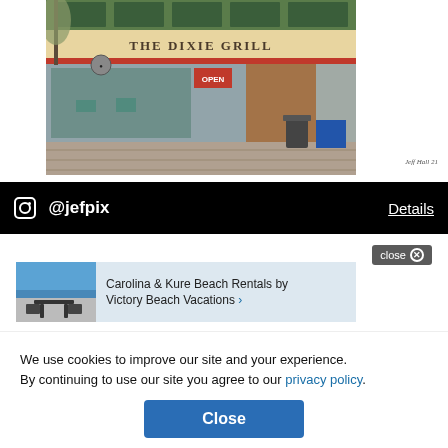[Figure (photo): Exterior photograph of The Dixie Grill storefront, a restaurant with large glass windows, signage reading 'THE DIXIE GRILL', an OPEN sign, outdoor sidewalk area with a trash can]
Jeff Hull 21 (signature/watermark)
@jefpix
Details
close ✕
[Figure (photo): Advertisement thumbnail showing beach/ocean view with outdoor table and chairs]
Carolina & Kure Beach Rentals by Victory Beach Vacations >
GRA
Grays
We use cookies to improve our site and your experience. By continuing to use our site you agree to our privacy policy.
Close